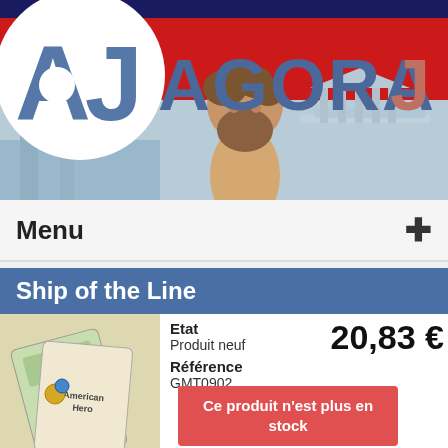[Figure (logo): AJ Agora website header banner with logo circle containing 'AJ' letters, 'AGORAJ' text in blue, red background bar, Greek philosopher figure and Greek temple illustration]
Menu +
Ship of the Line
Etat
Produit neuf
Référence
GMT0902
20,83 €
[Figure (photo): Close-up photo of board game cards/components with 'American Hero' text visible]
Ce produit n'est plus en stock